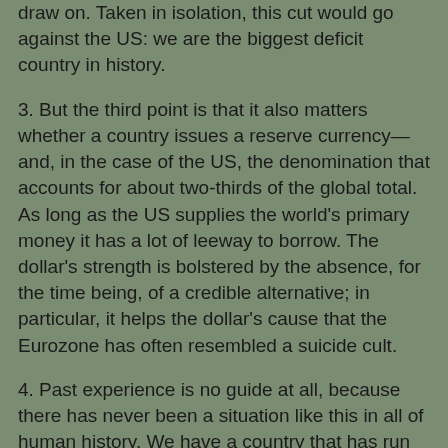draw on.  Taken in isolation, this cut would go against the US: we are the biggest deficit country in history.
3. But the third point is that it also matters whether a country issues a reserve currency—and, in the case of the US, the denomination that accounts for about two-thirds of the global total.  As long as the US supplies the world's primary money it has a lot of leeway to borrow.  The dollar's strength is bolstered by the absence, for the time being, of a credible alternative; in particular, it helps the dollar's cause that the Eurozone has often resembled a suicide cult.
4. Past experience is no guide at all, because there has never been a situation like this in all of human history.  We have a country that has run current account deficits ranging from large to mammoth for decades, that has large domestic debts, public and private, it cannot wind down, but also supplies the dominant reserve currency.  We are playing it by ear.
People are right to be worried, but this is not about fiscal deficits per se; the entire edifice of public and private debt in the context of continuing external deficits is unsustainable.